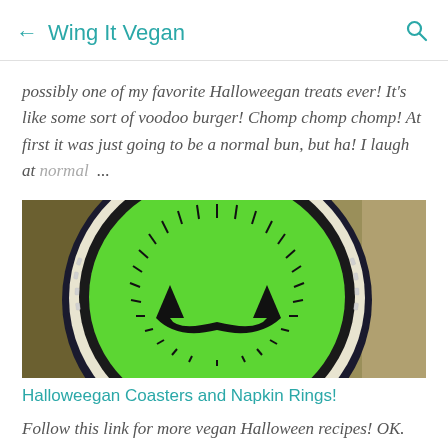← Wing It Vegan
possibly one of my favorite Halloweegan treats ever! It's like some sort of voodoo burger! Chomp chomp chomp! At first it was just going to be a normal bun, but ha! I laugh at normal ...
[Figure (photo): Close-up photo of a circular felt coaster with bright green fabric, black stitching around the edge, and a black bat/jack-o-lantern face design in the center, with a wooden background behind it.]
Halloweegan Coasters and Napkin Rings!
Follow this link for more vegan Halloween recipes! OK. After this I'm all Halloween-crafted out! These felt coasters are very easy to make, but if you're a little obsessed with neat stitches it